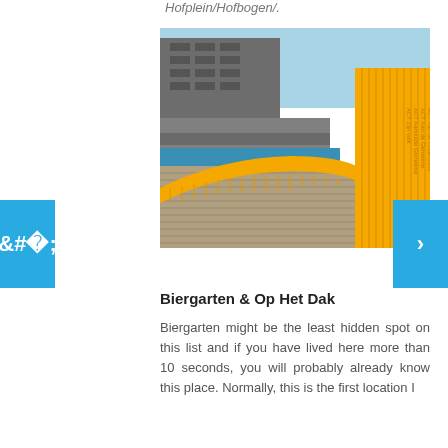Hofplein/Hofbogen/.
[Figure (photo): Outdoor photo of yellow curved wooden slat walls/benches forming a winding structure on a wooden deck, with grey brutalist architecture buildings in the background and blue sky. Text is inscribed on the yellow slats on the right side.]
Biergarten & Op Het Dak
Biergarten might be the least hidden spot on this list and if you have lived here more than 10 seconds, you will probably already know this place. Normally, this is the first location I